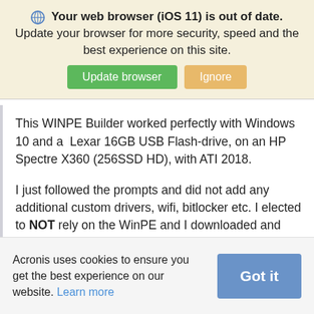⚙ Your web browser (iOS 11) is out of date. Update your browser for more security, speed and the best experience on this site.
Update browser | Ignore
This WINPE Builder worked perfectly with Windows 10 and a  Lexar 16GB USB Flash-drive, on an HP Spectre X360 (256SSD HD), with ATI 2018.
I just followed the prompts and did not add any additional custom drivers, wifi, bitlocker etc. I elected to NOT rely on the WinPE and I downloaded and installed Windows ADK (took about 5 hours with my lousy internet connection).  The boot USB drive does
Acronis uses cookies to ensure you get the best experience on our website. Learn more